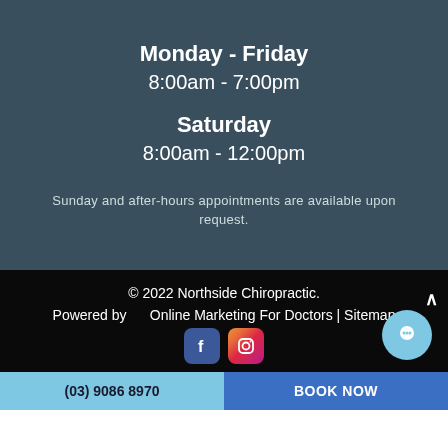Monday - Friday
8:00am - 7:00pm
Saturday
8:00am - 12:00pm
Sunday and after-hours appointments are available upon request.
© 2022 Northside Chiropractic.
Powered by      Online Marketing For Doctors | Sitemap
[Figure (logo): Facebook and Instagram social media icons]
(03) 9086 8970    BOOK NOW